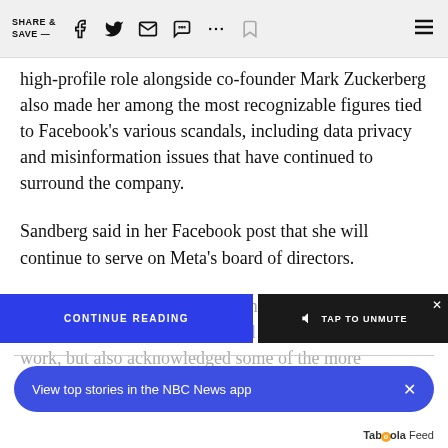SHARE & SAVE —
high-profile role alongside co-founder Mark Zuckerberg also made her among the most recognizable figures tied to Facebook's various scandals, including data privacy and misinformation issues that have continued to surround the company.
Sandberg said in her Facebook post that she will continue to serve on Meta's board of directors.
Sandberg thanked Zuckerberg and her co-workers, saying she continues to be proud of the company's work, but also acknowledged some of the more